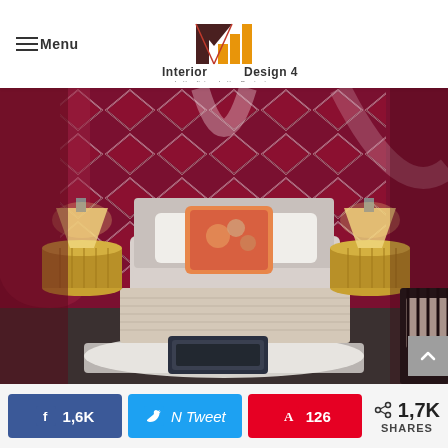Interior Design 4 — better living, better Designing
[Figure (photo): Luxury bedroom with deep red diamond-pattern tufted headboard wall, white bed with chunky knit throw, gold cylindrical nightstands with table lamps, a dark leather ottoman at foot of bed on white rug, black chair visible at right edge]
[Figure (infographic): Social share bar with Facebook 1,6K, Twitter (tweet), Pinterest 126, and total 1,7K SHARES buttons]